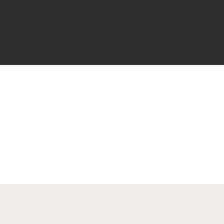[Figure (photo): Dark banner/header image area at top of page]
The 300 of Sparta / Epic March
© 2016 Arcadian Trails. All rights reserved.